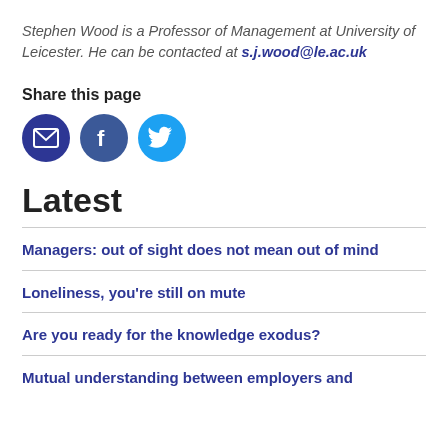Stephen Wood is a Professor of Management at University of Leicester. He can be contacted at s.j.wood@le.ac.uk
Share this page
[Figure (illustration): Three social sharing icons: email (dark blue circle with envelope), Facebook (dark blue circle with f), Twitter (light blue circle with bird)]
Latest
Managers: out of sight does not mean out of mind
Loneliness, you’re still on mute
Are you ready for the knowledge exodus?
Mutual understanding between employers and